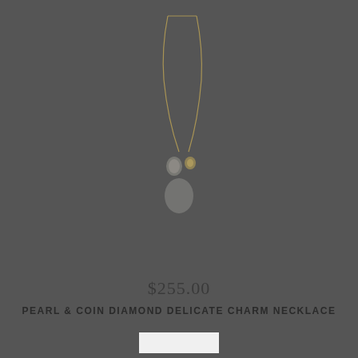[Figure (photo): A gold chain necklace with pearl and coin diamond delicate charms, photographed against a dark gray background. The necklace hangs in a U-shape with small charms visible at the bottom center of the chain.]
$255.00
PEARL & COIN DIAMOND DELICATE CHARM NECKLACE